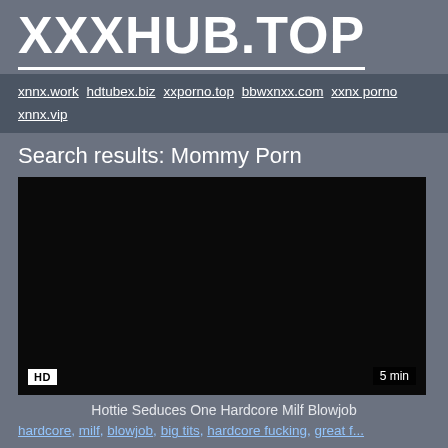XXXHUB.TOP
xnnx.work  hdtubex.biz  xxporno.top  bbwxnxx.com  xxnx porno  xnnx.vip
Search results: Mommy Porn
[Figure (photo): Dark video thumbnail with HD badge and 5 min duration label]
Hottie Seduces One Hardcore Milf Blowjob
hardcore, milf, blowjob, big tits, hardcore fucking, great f...